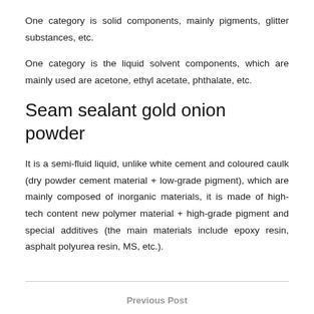One category is solid components, mainly pigments, glitter substances, etc.
One category is the liquid solvent components, which are mainly used are acetone, ethyl acetate, phthalate, etc.
Seam sealant gold onion powder
It is a semi-fluid liquid, unlike white cement and coloured caulk (dry powder cement material + low-grade pigment), which are mainly composed of inorganic materials, it is made of high-tech content new polymer material + high-grade pigment and special additives (the main materials include epoxy resin, asphalt polyurea resin, MS, etc.).
Previous Post